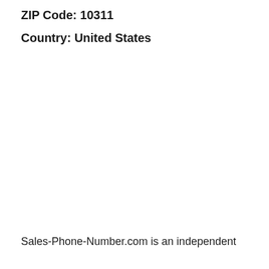ZIP Code: 10311
Country: United States
Sales-Phone-Number.com is an independent